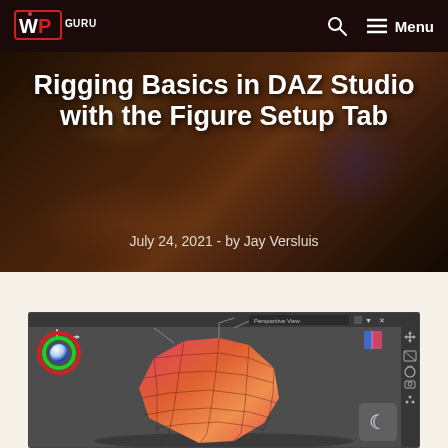WPGuru — Menu
Rigging Basics in DAZ Studio with the Figure Setup Tab
July 24, 2021 - by Jay Versluis
[Figure (screenshot): DAZ Studio 3D viewport screenshot showing a low-poly mesh object (head/dome shape in orange-pink gradient) with a color rotation widget (blue/green/red rings with white sphere) in the top-left, a cube orientation widget in the top-right, toolbar icons on the right side, and a dark-mode toggle button (crescent moon) in the bottom-right corner.]